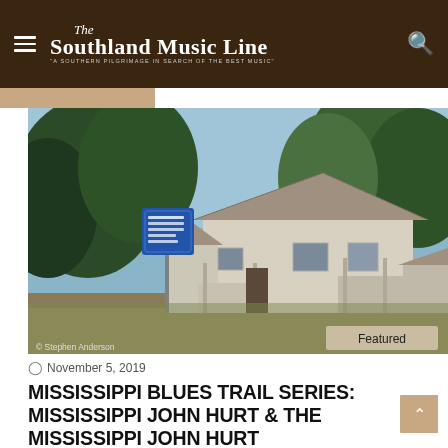The Southland Music Line — "A SOUTHERN PILGRIMAGE IN SEARCH OF THE BEST MUSIC"
[Figure (photo): An old weathered white wooden building with a rusted tin roof surrounded by trees. A blue Mississippi Blues Trail historical marker sign stands to the left of the building. Photo credit: © Stephen Anderson. A 'Featured' badge appears in the lower right corner.]
November 5, 2019
MISSISSIPPI BLUES TRAIL SERIES: MISSISSIPPI JOHN HURT & THE MISSISSIPPI JOHN HURT HOMECOMING FESTIVAL 2019